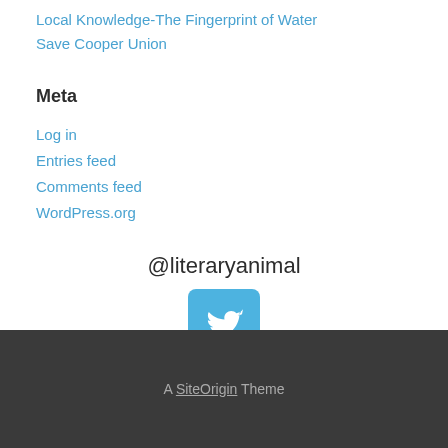Local Knowledge-The Fingerprint of Water
Save Cooper Union
Meta
Log in
Entries feed
Comments feed
WordPress.org
@literaryanimal
[Figure (logo): Twitter bird logo icon in white on a blue rounded square button]
A SiteOrigin Theme